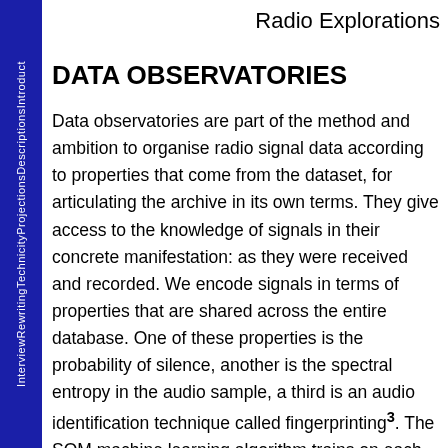Radio Explorations
DATA OBSERVATORIES
Data observatories are part of the method and ambition to organise radio signal data according to properties that come from the dataset, for articulating the archive in its own terms. They give access to the knowledge of signals in their concrete manifestation: as they were received and recorded. We encode signals in terms of properties that are shared across the entire database. One of these properties is the probability of silence, another is the spectral entropy in the audio sample, a third is an audio identification technique called fingerprinting³. The SOM machine learning algorithm trains on each of